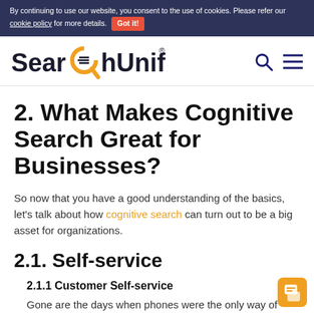By continuing to use our website, you consent to the use of cookies. Please refer our cookie policy for more details. Got it!
[Figure (logo): SearchUnify logo with orange magnifying glass icon replacing the letter C]
2. What Makes Cognitive Search Great for Businesses?
So now that you have a good understanding of the basics, let's talk about how cognitive search can turn out to be a big asset for organizations.
2.1. Self-service
2.1.1 Customer Self-service
Gone are the days when phones were the only way of